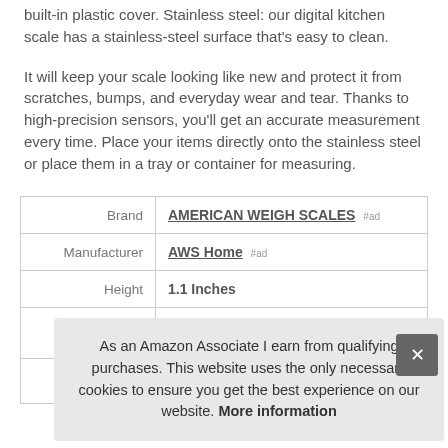built-in plastic cover. Stainless steel: our digital kitchen scale has a stainless-steel surface that’s easy to clean.
It will keep your scale looking like new and protect it from scratches, bumps, and everyday wear and tear. Thanks to high-precision sensors, you’ll get an accurate measurement every time. Place your items directly onto the stainless steel or place them in a tray or container for measuring.
|  |  |
| --- | --- |
| Brand | AMERICAN WEIGH SCALES #ad |
| Manufacturer | AWS Home #ad |
| Height | 1.1 Inches |
As an Amazon Associate I earn from qualifying purchases. This website uses the only necessary cookies to ensure you get the best experience on our website. More information